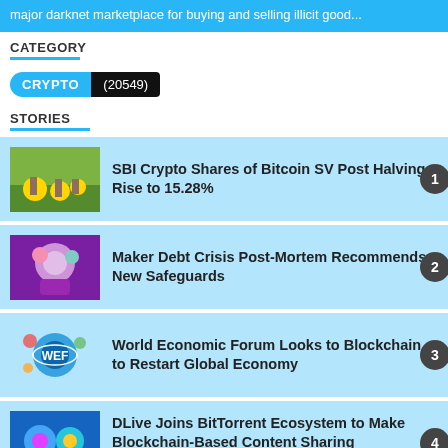major darknet marketplace for buying and selling illicit good...
CATEGORY
CRYPTO (20549)
STORIES
SBI Crypto Shares of Bitcoin SV Post Halving Rise to 15.28%
Maker Debt Crisis Post-Mortem Recommends New Safeguards
World Economic Forum Looks to Blockchain to Restart Global Economy
DLive Joins BitTorrent Ecosystem to Make Blockchain-Based Content Sharing Mainstream
Grayscale Gifts $1 Million To Coin Center, Will Match Up